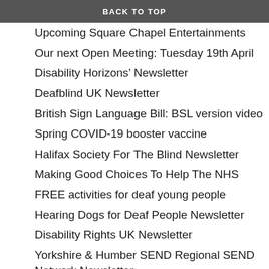BACK TO TOP
Changing Places – Big Funding Boost
Upcoming Square Chapel Entertainments
Our next Open Meeting: Tuesday 19th April
Disability Horizons’ Newsletter
Deafblind UK Newsletter
British Sign Language Bill: BSL version video
Spring COVID-19 booster vaccine
Halifax Society For The Blind Newsletter
Making Good Choices To Help The NHS
FREE activities for deaf young people
Hearing Dogs for Deaf People Newsletter
Disability Rights UK Newsletter
Yorkshire & Humber SEND Regional SEND Network Newsletter
Police and Crime Plan Launched
Department For Work & Pensions Newsletter
Everyone Should Take A Meter Reading On 31 March
It’s Sign Language Week